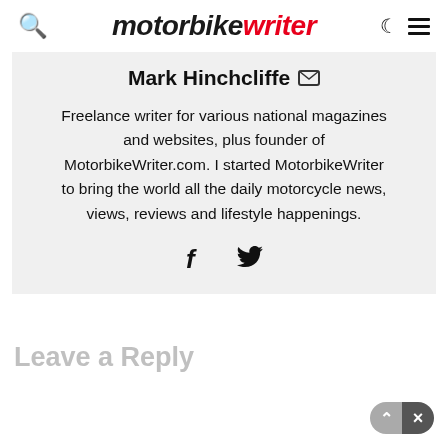motorbike writer
Mark Hinchcliffe
Freelance writer for various national magazines and websites, plus founder of MotorbikeWriter.com. I started MotorbikeWriter to bring the world all the daily motorcycle news, views, reviews and lifestyle happenings.
[Figure (illustration): Social media icons: Facebook and Twitter]
Leave a Reply